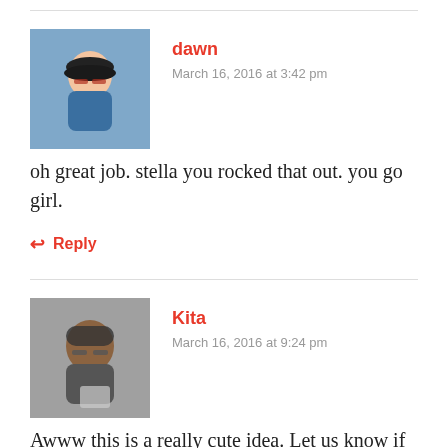[Figure (photo): Profile photo of a woman with short dark hair and red glasses, wearing a blue top]
dawn
March 16, 2016 at 3:42 pm
oh great job. stella you rocked that out. you go girl.
Reply
[Figure (photo): Profile photo of a woman with glasses holding a tablet, wearing a gray jacket and red shirt]
Kita
March 16, 2016 at 9:24 pm
Awww this is a really cute idea. Let us know if she catches a leprechaun.